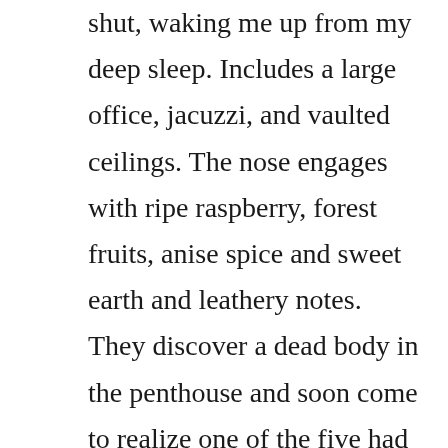shut, waking me up from my deep sleep. Includes a large office, jacuzzi, and vaulted ceilings. The nose engages with ripe raspberry, forest fruits, anise spice and sweet earth and leathery notes. They discover a dead body in the penthouse and soon come to realize one of the five had something to do with the womans death. Maya is a cia agent whose first experience is in the cross examination of detainees taking after the al qaeda assaults against the u. Mtt and his glorious american band give the raucous comedy their full due when asked, but theres